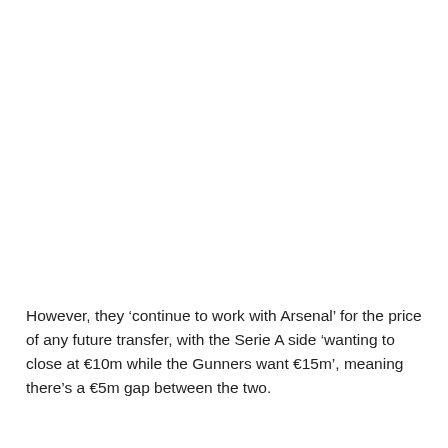However, they ‘continue to work with Arsenal’ for the price of any future transfer, with the Serie A side ‘wanting to close at €10m while the Gunners want €15m’, meaning there’s a €5m gap between the two.